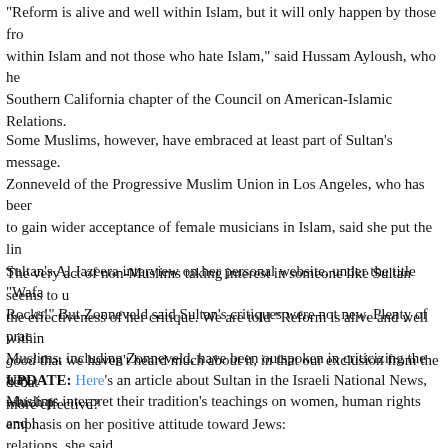"Reform is alive and well within Islam, but it will only happen by those from within Islam and not those who hate Islam," said Hussam Ayloush, who he… Southern California chapter of the Council on American-Islamic Relations.
Some Muslims, however, have embraced at least part of Sultan's message. Zonneveld of the Progressive Muslim Union in Los Angeles, who has been to gain wider acceptance of female musicians in Islam, said she put the link of Sultan's Al Jazeera interview on her personal website, under the title "Wafa Rocks!" But Zonneveld said Sultan's critiques were not new. Plenty of practicing Muslims, including Zonneveld, have been outspoken in criticizing the way Muslims interpret their tradition's teachings on women, human rights and i… relations, she said.
The very act of non-Muslims taking interest in someone like Sultan seems to undermine the effectiveness of her critique. We are told "Reform is alive and well within good that we haven't heard much about it, in that our exclusion from the debate makes it more effective?
UPDATE: Here's an article about Sultan in the Israeli National News, which places emphasis on her positive attitude toward Jews: